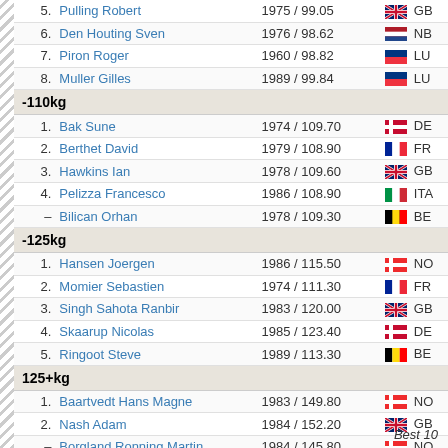| Rank | Name | Year / Weight | Flag | Country |
| --- | --- | --- | --- | --- |
| 5. | Pulling Robert | 1975 / 99.05 |  | GB |
| 6. | Den Houting Sven | 1976 / 98.62 |  | NB |
| 7. | Piron Roger | 1960 / 98.82 |  | LU |
| 8. | Muller Gilles | 1989 / 99.84 |  | LU |
| -110kg |  |  |  |  |
| 1. | Bak Sune | 1974 / 109.70 |  | DE |
| 2. | Berthet David | 1979 / 108.90 |  | FR |
| 3. | Hawkins Ian | 1978 / 109.60 |  | GB |
| 4. | Pelizza Francesco | 1986 / 108.90 |  | ITA |
| – | Bilican Orhan | 1978 / 109.30 |  | BE |
| -125kg |  |  |  |  |
| 1. | Hansen Joergen | 1986 / 115.50 |  | NO |
| 2. | Momier Sebastien | 1974 / 111.30 |  | FR |
| 3. | Singh Sahota Ranbir | 1983 / 120.00 |  | GB |
| 4. | Skaarup Nicolas | 1985 / 123.40 |  | DE |
| 5. | Ringoot Steve | 1989 / 113.30 |  | BE |
| 125+kg |  |  |  |  |
| 1. | Baartvedt Hans Magne | 1983 / 149.80 |  | NO |
| 2. | Nash Adam | 1984 / 152.20 |  | GB |
| – | Borgland Ronning Martin | 1984 / 145.80 |  | NO |
| – | Markussen Lars | 1974 / 127.50 |  | NO |
Best 10